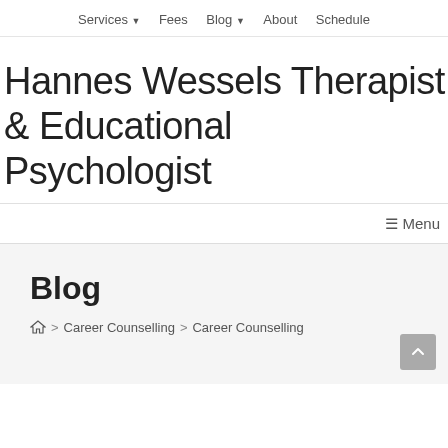Services ▼   Fees   Blog ▼   About   Schedule
Hannes Wessels Therapist & Educational Psychologist
≡ Menu
Blog
🏠 > Career Counselling > Career Counselling